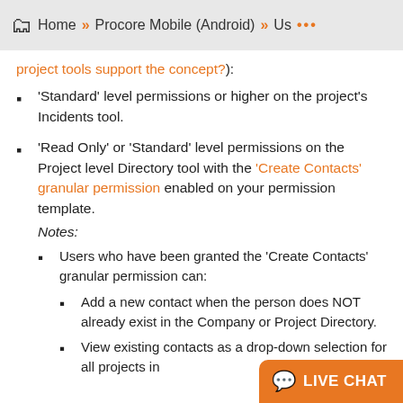Home » Procore Mobile (Android) » Us ...
project tools support the concept?):
'Standard' level permissions or higher on the project's Incidents tool.
'Read Only' or 'Standard' level permissions on the Project level Directory tool with the 'Create Contacts' granular permission enabled on your permission template.
Notes:
• Users who have been granted the 'Create Contacts' granular permission can:
  • Add a new contact when the person does NOT already exist in the Company or Project Directory.
  • View existing contacts as a drop-down selection for all projects in